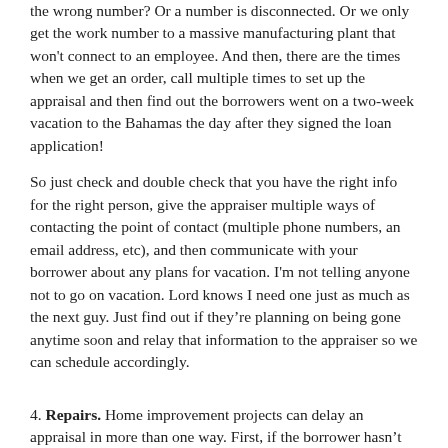the wrong number?  Or a number is disconnected.  Or we only get the work number to a massive manufacturing plant that won't connect to an employee.  And then, there are the times when we get an order, call multiple times to set up the appraisal and then find out the borrowers went on a two-week vacation to the Bahamas the day after they signed the loan application!
So just check and double check that you have the right info for the right person, give the appraiser multiple ways of contacting the point of contact (multiple phone numbers, an email address, etc), and then communicate with your borrower about any plans for vacation.  I'm not telling anyone not to go on vacation.  Lord knows I need one just as much as the next guy. Just find out if they're planning on being gone anytime soon and relay that information to the appraiser so we can schedule accordingly.
4. Repairs.  Home improvement projects can delay an appraisal in more than one way.  First, if the borrower hasn't told you they've ripped out their master bathroom, and you've ordered an as-is appraisal, that could delay things.  The appraiser should get in touch with their client and see if they truly want an as-is